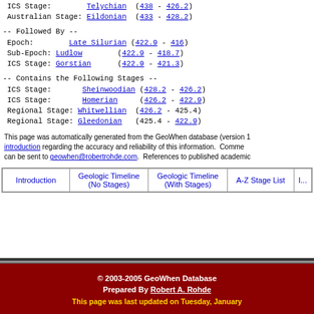ICS Stage: Telychian (438 - 426.2)
Australian Stage: Eildonian (433 - 428.2)
-- Followed By --
Epoch: Late Silurian (422.9 - 416)
Sub-Epoch: Ludlow (422.9 - 418.7)
ICS Stage: Gorstian (422.9 - 421.3)
-- Contains the Following Stages --
ICS Stage: Sheinwoodian (428.2 - 426.2)
ICS Stage: Homerian (426.2 - 422.9)
Regional Stage: Whitwellian (426.2 - 425.4)
Regional Stage: Gleedonian (425.4 - 422.9)
This page was automatically generated from the GeoWhen database (version 1 introduction regarding the accuracy and reliability of this information. Comments can be sent to geowhen@robertrohde.com. References to published academic
| Introduction | Geologic Timeline (No Stages) | Geologic Timeline (With Stages) | A-Z Stage List | I... |
| --- | --- | --- | --- | --- |
|  |
© 2003-2005 GeoWhen Database
Prepared By Robert A. Rohde
This page was last updated on Tuesday, January